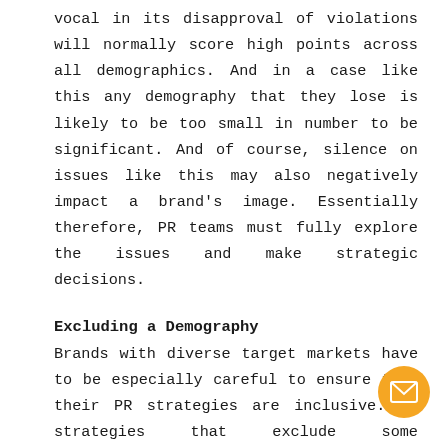vocal in its disapproval of violations will normally score high points across all demographics. And in a case like this any demography that they lose is likely to be too small in number to be significant. And of course, silence on issues like this may also negatively impact a brand's image. Essentially therefore, PR teams must fully explore the issues and make strategic decisions.
Excluding a Demography
Brands with diverse target markets have to be especially careful to ensure that their PR strategies are inclusive. PR strategies that exclude some demographics may turn off potential customers who fall in that demography or are in solidarity with them.
[Figure (other): Orange circular email/envelope icon button in the bottom right corner]
Sporadic Campaigns